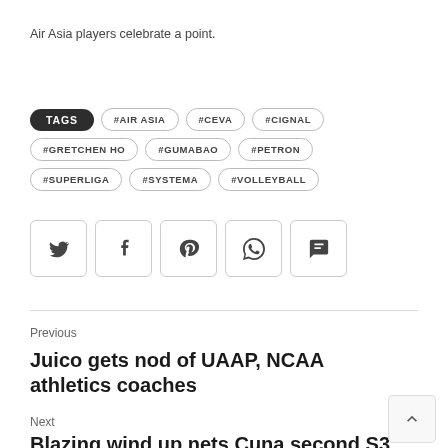Air Asia players celebrate a point.
TAGS #AIR ASIA #CEVA #CIGNAL #GRETCHEN HO #GUMABAO #PETRON #SUPERLIGA #SYSTEMA #VOLLEYBALL
[Figure (other): Social sharing icons: Twitter, Facebook, Pinterest, WhatsApp, Chat/Comment]
Previous
Juico gets nod of UAAP, NCAA athletics coaches
Next
Blazing wind up nets Cuna second S3...